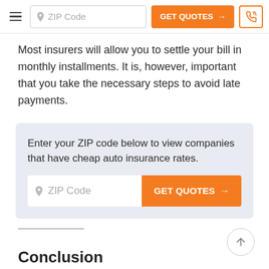ZIP Code | GET QUOTES → | [phone icon]
Most insurers will allow you to settle your bill in monthly installments. It is, however, important that you take the necessary steps to avoid late payments.
Enter your ZIP code below to view companies that have cheap auto insurance rates.
Conclusion